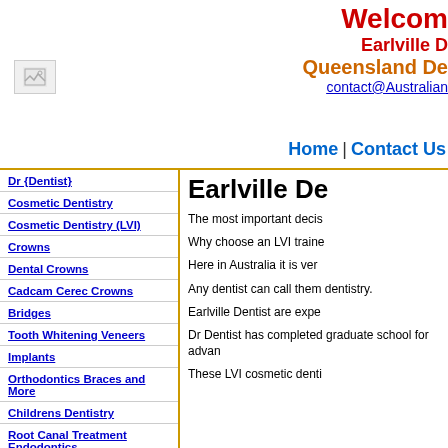[Figure (logo): Small broken image placeholder icon]
Welcom Earlville D Queensland De contact@Australian
Home | Contact Us
Dr {Dentist}
Cosmetic Dentistry
Cosmetic Dentistry (LVI)
Crowns
Dental Crowns
Cadcam Cerec Crowns
Bridges
Tooth Whitening Veneers
Implants
Orthodontics Braces and More
Childrens Dentistry
Root Canal Treatment Endodontics
Earlville De
The most important decis
Why choose an LVI traine
Here in Australia it is ver
Any dentist can call them dentistry.
Earlville Dentist are expe
Dr Dentist has completed graduate school for advan
These LVI cosmetic denti